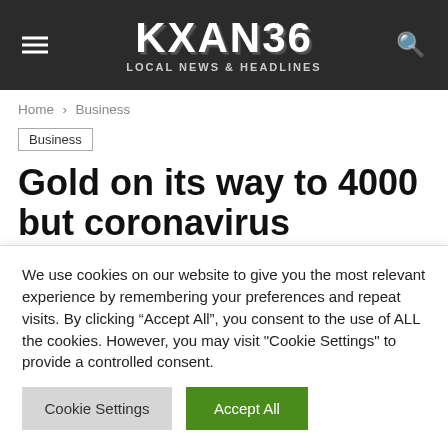KXAN36 LOCAL NEWS & HEADLINES
Home > Business
Business
Gold on its way to 4000 but coronavirus vaccine US election could change that course analysts
We use cookies on our website to give you the most relevant experience by remembering your preferences and repeat visits. By clicking “Accept All”, you consent to the use of ALL the cookies. However, you may visit "Cookie Settings" to provide a controlled consent.
Cookie Settings | Accept All